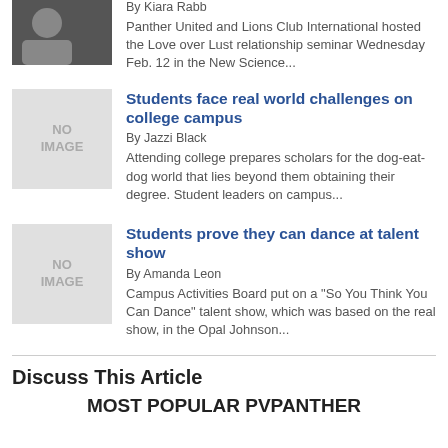[Figure (photo): Small thumbnail photo of a person]
By Kiara Rabb
Panther United and Lions Club International hosted the Love over Lust relationship seminar Wednesday Feb. 12 in the New Science...
[Figure (photo): No Image placeholder]
Students face real world challenges on college campus
By Jazzi Black
Attending college prepares scholars for the dog-eat-dog world that lies beyond them obtaining their degree. Student leaders on campus...
[Figure (photo): No Image placeholder]
Students prove they can dance at talent show
By Amanda Leon
Campus Activities Board put on a "So You Think You Can Dance" talent show, which was based on the real show, in the Opal Johnson...
Discuss This Article
MOST POPULAR PVPANTHER